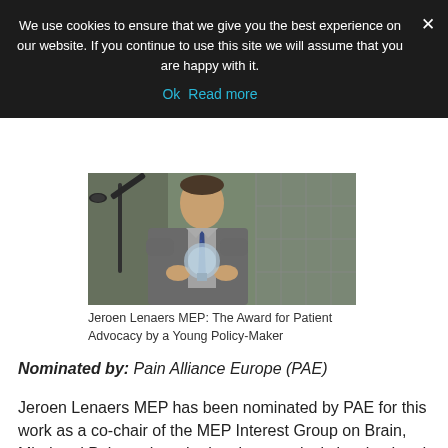We use cookies to ensure that we give you the best experience on our website. If you continue to use this site we will assume that you are happy with it. Ok  Read more
[Figure (photo): Jeroen Lenaers MEP standing at a microphone holding a glass/crystal award trophy, wearing a grey suit and blue polka-dot tie, with a decorative stained-glass window background.]
Jeroen Lenaers MEP: The Award for Patient Advocacy by a Young Policy-Maker
Nominated by: Pain Alliance Europe (PAE)
Jeroen Lenaers MEP has been nominated by PAE for this work as a co-chair of the MEP Interest Group on Brain, Mind and Pain – where he has been actively involved and supported the group with tabling legislative amendments, coordinating